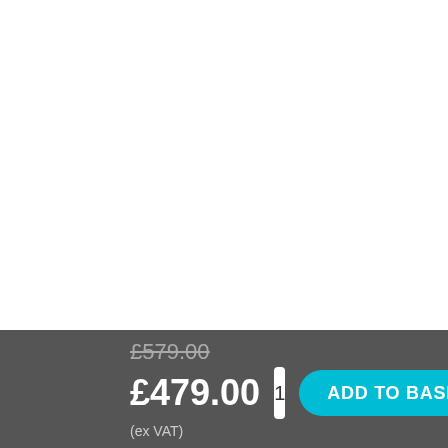[Figure (screenshot): White product image area (empty/blank white space at top)]
£579.00 (strikethrough old price)
£479.00
(ex VAT)
1
ADD TO BASKET